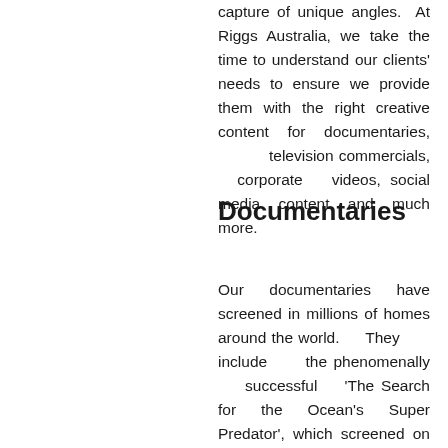capture of unique angles.  At Riggs Australia, we take the time to understand our clients' needs to ensure we provide them with the right creative content for documentaries, television commercials, corporate videos, social media content and much more.
Documentaries
Our documentaries have screened in millions of homes around the world.  They include the phenomenally successful 'The Search for the Ocean's Super Predator', which screened on the